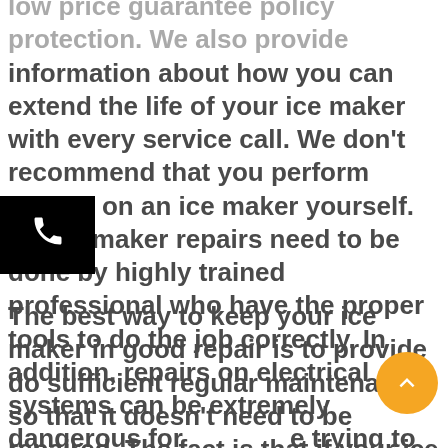low price guarantee policy protection. We also provide information about how you can extend the life of your ice maker with every service call. We don't recommend that you perform repairs on an ice maker yourself. All ice maker repairs need to be done by highly trained professional who have the proper tools to do the job correctly. In addition, repairs on electrical systems can be extremely dangerous for those trying to attempt a repair without the necessary experience and knowledge or experience. For professional, experienced washer repair call Appliance Repair Boca Raton.
The best way to keep your ice maker in good repair is to provide do sufficient regular maintenance so that it doesn't need to be repaired. The fact is that if your ice maker needs repair so badly that a repair is required your best course of action is to contact Appliance Repair Boca Raton. In fact, the repair of an Ice Maker is not a job that is best suited for the typical homeowner, and in many cases it can be less expensive to replace the ice maker rather than having it